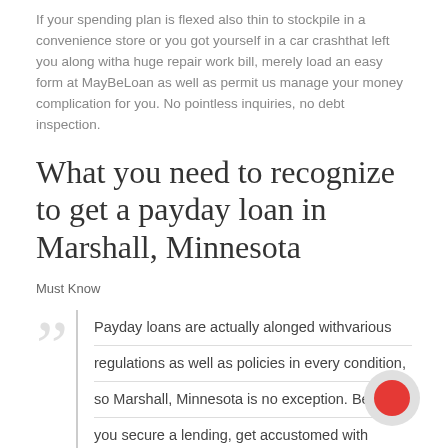If your spending plan is flexed also thin to stockpile in a convenience store or you got yourself in a car crashthat left you along witha huge repair work bill, merely load an easy form at MayBeLoan as well as permit us manage your money complication for you. No pointless inquiries, no debt inspection.
What you need to recognize to get a payday loan in Marshall, Minnesota
Must Know
Payday loans are actually alonged withvarious regulations as well as policies in every condition, so Marshall, Minnesota is no exception. Before you secure a lending, get accustomed with legislations to recognize how the system works.